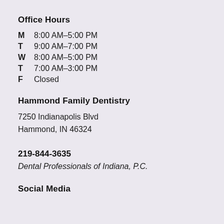Office Hours
M  8:00 AM–5:00 PM
T  9:00 AM–7:00 PM
W  8:00 AM–5:00 PM
T  7:00 AM–3:00 PM
F  Closed
Hammond Family Dentistry
7250 Indianapolis Blvd
Hammond, IN 46324
219-844-3635
Dental Professionals of Indiana, P.C.
Social Media